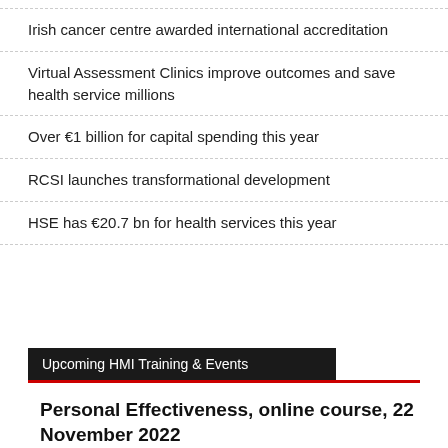Irish cancer centre awarded international accreditation
Virtual Assessment Clinics improve outcomes and save health service millions
Over €1 billion for capital spending this year
RCSI launches transformational development
HSE has €20.7 bn for health services this year
Upcoming HMI Training & Events
Personal Effectiveness, online course, 22 November 2022